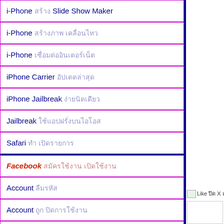i-Phone สร้าง Slide Show Maker
i-Phone สร้างภาพ เคลื่อนไหว
i-Phone เชื่อมต่ออินเตอร์เน็ต
iPhone Carrier อัปเดตล่าสุด
iPhone Jailbreak ง่ายนิดเดียว
Jailbreak ใช้แอปฝรั่งบนไอโอส
Safari ทำ เปิดรายการ
Facebook สมัครใช้งาน เปิดใช้งาน
Account ลืมรหัส
Account ถูก ปิดการใช้งาน
Facebook Block คนอื่น ไม่ได้
Facebook Hacking
Facebook Lock รหัสใด